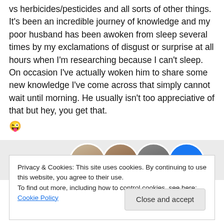vs herbicides/pesticides and all sorts of other things. It's been an incredible journey of knowledge and my poor husband has been awoken from sleep several times by my exclamations of disgust or surprise at all hours when I'm researching because I can't sleep. On occasion I've actually woken him to share some new knowledge I've come across that simply cannot wait until morning. He usually isn't too appreciative of that but hey, you get that. 😜
[Figure (photo): Row of partially visible circular avatar photos of people against a grey background]
Privacy & Cookies: This site uses cookies. By continuing to use this website, you agree to their use.
To find out more, including how to control cookies, see here: Cookie Policy